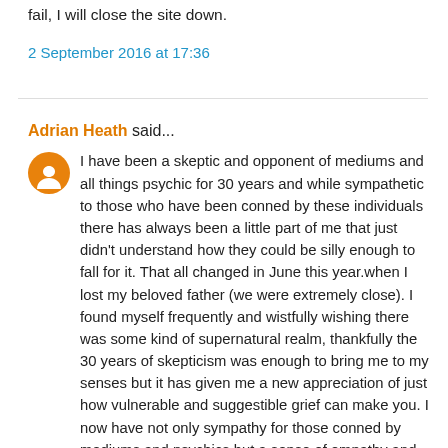fail, I will close the site down.
2 September 2016 at 17:36
Adrian Heath said...
I have been a skeptic and opponent of mediums and all things psychic for 30 years and while sympathetic to those who have been conned by these individuals there has always been a little part of me that just didn't understand how they could be silly enough to fall for it. That all changed in June this year.when I lost my beloved father (we were extremely close). I found myself frequently and wistfully wishing there was some kind of supernatural realm, thankfully the 30 years of skepticism was enough to bring me to my senses but it has given me a new appreciation of just how vulnerable and suggestible grief can make you. I now have not only sympathy for those conned by mediums and psychics but a sense of empathy and understanding of how it can occur which makes me appreciate what Jon and badpsychics is trying to do, its a thankless never ending task I'll give him that and we should do what